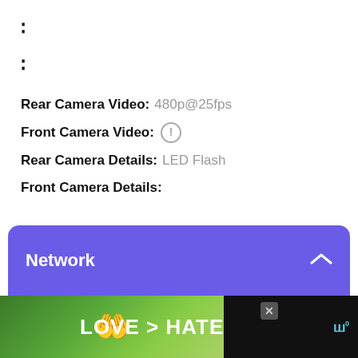:
:
Rear Camera Video:  480p@25fps
Front Camera Video:  ⓘ
Rear Camera Details:  LED Flash
Front Camera Details:
Network
[Figure (screenshot): Advertisement banner showing hands forming a heart shape with text LOVE > HATE and a close button]